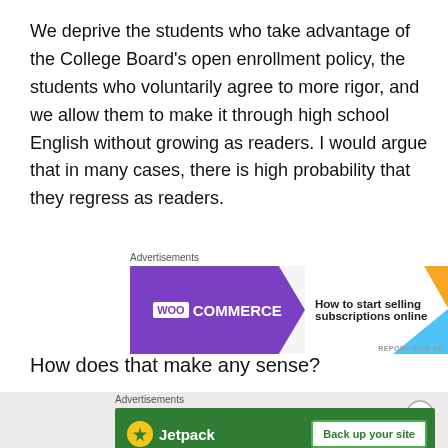We deprive the students who take advantage of the College Board's open enrollment policy, the students who voluntarily agree to more rigor, and we allow them to make it through high school English without growing as readers. I would argue that in many cases, there is high probability that they regress as readers.
[Figure (other): WooCommerce advertisement banner: purple arrow shape with WooCommerce logo on left, white area with text 'How to start selling subscriptions online' on right, with colorful corner accents]
How does that make any sense?
[Figure (other): Jetpack advertisement banner: green background with Jetpack logo on left, white button reading 'Back up your site' on right]